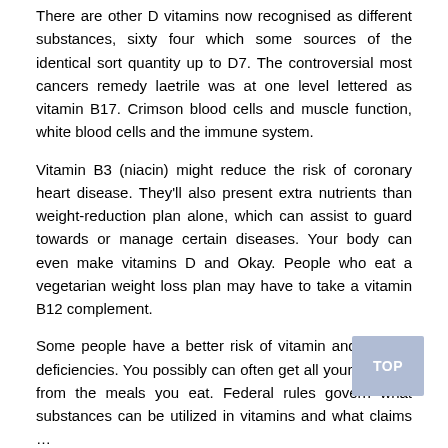There are other D vitamins now recognised as different substances, sixty four which some sources of the identical sort quantity up to D7. The controversial most cancers remedy laetrile was at one level lettered as vitamin B17. Crimson blood cells and muscle function, white blood cells and the immune system.
Vitamin B3 (niacin) might reduce the risk of coronary heart disease. They'll also present extra nutrients than weight-reduction plan alone, which can assist to guard towards or manage certain diseases. Your body can even make vitamins D and Okay. People who eat a vegetarian weight loss plan may have to take a vitamin B12 complement.
Some people have a better risk of vitamin and mineral deficiencies. You possibly can often get all your vitamins from the meals you eat. Federal rules govern what substances can be utilized in vitamins and what claims …
View More »